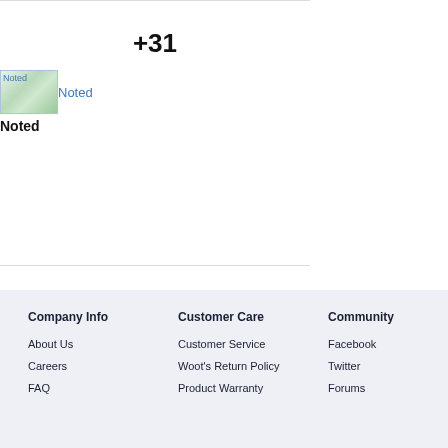+31
[Figure (illustration): Broken image placeholder labeled 'Noted' with blue link text]
Noted
Company Info
Customer Care
Community
About Us
Customer Service
Facebook
Careers
Woot's Return Policy
Twitter
FAQ
Product Warranty
Forums